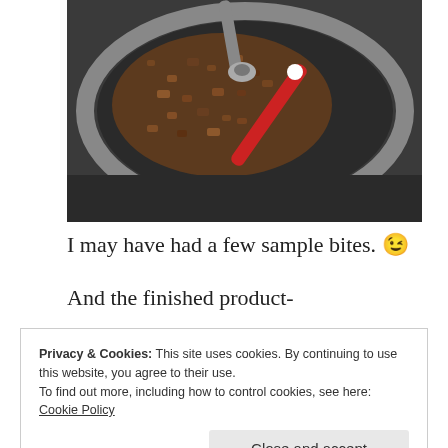[Figure (photo): Overhead view of a food processor or mixing bowl containing ground/chopped chocolate or nut mixture, with a red handle utensil resting across the bowl. Industrial kitchen equipment visible in background.]
I may have had a few sample bites. 😉
And the finished product-
Privacy & Cookies: This site uses cookies. By continuing to use this website, you agree to their use.
To find out more, including how to control cookies, see here: Cookie Policy
[Figure (photo): Partial photo visible at bottom of page, appears to show a hand and red clothing.]